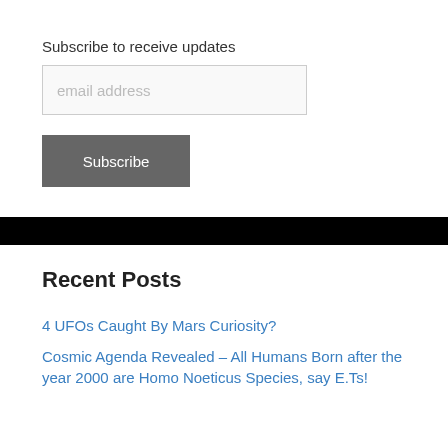Subscribe to receive updates
email address
Subscribe
Recent Posts
4 UFOs Caught By Mars Curiosity?
Cosmic Agenda Revealed – All Humans Born after the year 2000 are Homo Noeticus Species, say E.Ts!